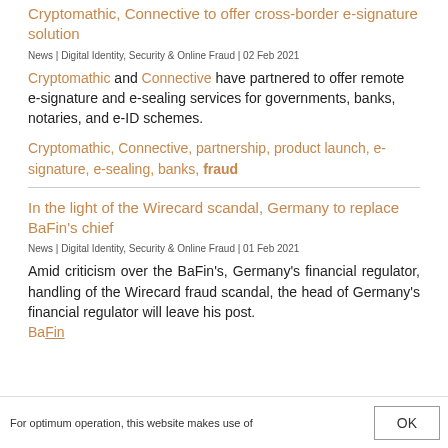Cryptomathic, Connective to offer cross-border e-signature solution
News | Digital Identity, Security & Online Fraud | 02 Feb 2021
Cryptomathic and Connective have partnered to offer remote e-signature and e-sealing services for governments, banks, notaries, and e-ID schemes.
Cryptomathic, Connective, partnership, product launch, e-signature, e-sealing, banks, fraud
In the light of the Wirecard scandal, Germany to replace BaFin's chief
News | Digital Identity, Security & Online Fraud | 01 Feb 2021
Amid criticism over the BaFin's, Germany's financial regulator, handling of the Wirecard fraud scandal, the head of Germany's financial regulator will leave his post.
For optimum operation, this website makes use of